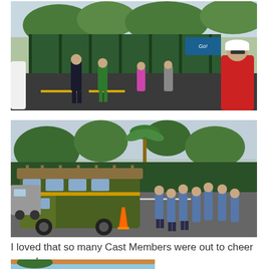[Figure (photo): Runners on a road during a race near a green fence with trees in background; a man in a red shirt and white cap is visible on the right side.]
[Figure (photo): A vintage double-decker bus or jungle cruise-style vehicle parked in a lot, surrounded by cast members in blue uniforms standing around orange traffic cones, with trees in background.]
I loved that so many Cast Members were out to cheer us on!
[Figure (photo): Partial view of a photo showing palm trees and a blue sky at the bottom of the page.]